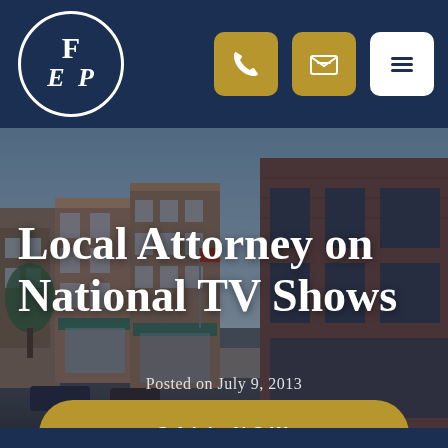[Figure (logo): Law firm logo: circular emblem with letters EP/FD in white on dark navy background, with white circle border]
[Figure (screenshot): Navigation header icons: gold phone icon button, gold email/envelope icon button, white hamburger menu icon button]
[Figure (photo): Background photo of a small-town American main street with brick buildings, storefronts with awnings, parked cars, at dusk/evening light]
Local Attorney on National TV Shows
Posted on July 9, 2013
CALL NOW